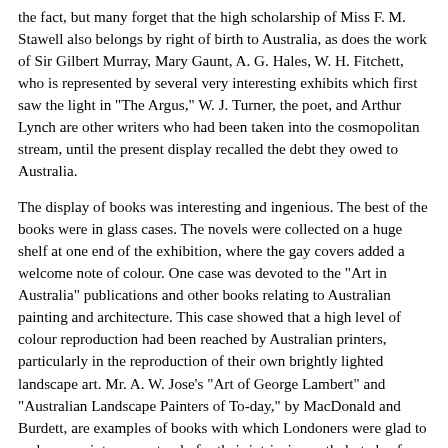the fact, but many forget that the high scholarship of Miss F. M. Stawell also belongs by right of birth to Australia, as does the work of Sir Gilbert Murray, Mary Gaunt, A. G. Hales, W. H. Fitchett, who is represented by several very interesting exhibits which first saw the light in "The Argus," W. J. Turner, the poet, and Arthur Lynch are other writers who had been taken into the cosmopolitan stream, until the present display recalled the debt they owed to Australia.
The display of books was interesting and ingenious. The best of the books were in glass cases. The novels were collected on a huge shelf at one end of the exhibition, where the gay covers added a welcome note of colour. One case was devoted to the "Art in Australia" publications and other books relating to Australian painting and architecture. This case showed that a high level of colour reproduction had been reached by Australian printers, particularly in the reproduction of their own brightly lighted landscape art. Mr. A. W. Jose's "Art of George Lambert" and "Australian Landscape Painters of To-day," by MacDonald and Burdett, are examples of books with which Londoners were glad to make acquaintance, not only for their intrinsic worth, but also for the Australian matter which they contained. Charles Barrett's "Aboriginal Art," published by the Government printer, Melbourne, was another book that tempted one to study. The books of the Lindsay family also aroused interest and attracted the